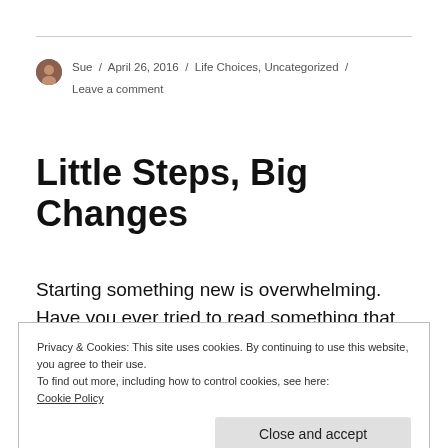Sue / April 26, 2016 / Life Choices, Uncategorized / Leave a comment
Little Steps, Big Changes
Starting something new is overwhelming. Have you ever tried to read something that is a new
Privacy & Cookies: This site uses cookies. By continuing to use this website, you agree to their use.
To find out more, including how to control cookies, see here:
Cookie Policy
Developing a new lifestyle is the same process.